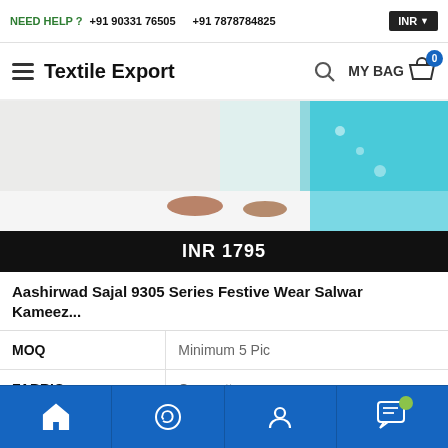NEED HELP ? +91 90331 76505  +91 7878784825  INR
Textile Export  MY BAG 0
[Figure (photo): Bottom portion of a person wearing teal/turquoise salwar kameez with embroidery and sandals, standing on white background]
INR 1795
Aashirwad Sajal 9305 Series Festive Wear Salwar Kameez...
|  |  |
| --- | --- |
| MOQ | Minimum 5 Pic |
| FABRIC | Georgette |
| TYPE | Salwar Kameez |
VIEW CATALOG  ADD TO CART